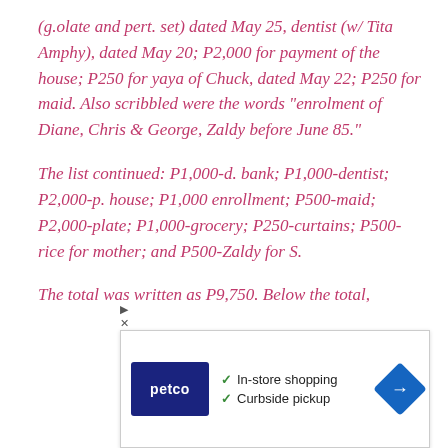(g.olate and pert. set) dated May 25, dentist (w/ Tita Amphy), dated May 20; P2,000 for payment of the house; P250 for yaya of Chuck, dated May 22; P250 for maid. Also scribbled were the words “enrolment of Diane, Chris & George, Zaldy before June 85.”
The list continued: P1,000-d. bank; P1,000-dentist; P2,000-p. house; P1,000 enrollment; P500-maid; P2,000-plate; P1,000-grocery; P250-curtains; P500-rice for mother; and P500-Zaldy for S.
The total was written as P9,750. Below the total,
[Figure (other): Advertisement overlay for Petco showing logo, checkmarks for 'In-store shopping' and 'Curbside pickup', and a blue direction arrow icon.]